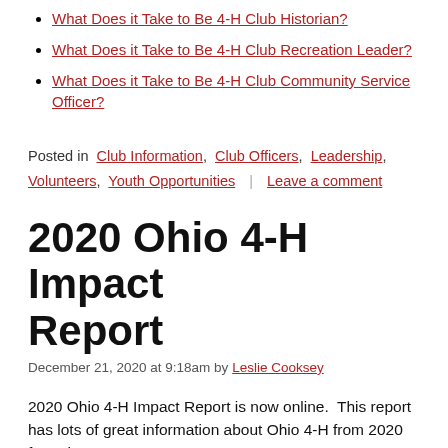What Does it Take to Be 4-H Club Historian?
What Does it Take to Be 4-H Club Recreation Leader?
What Does it Take to Be 4-H Club Community Service Officer?
Posted in  Club Information,  Club Officers,  Leadership,  Volunteers,  Youth Opportunities  |  Leave a comment
2020 Ohio 4-H Impact Report
December 21, 2020 at 9:18am by Leslie Cooksey
2020 Ohio 4-H Impact Report is now online.  This report has lots of great information about Ohio 4-H from 2020 from the